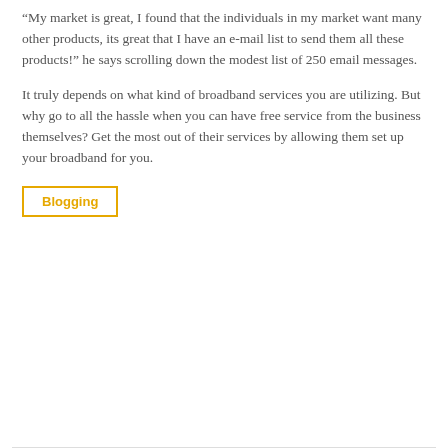“My market is great, I found that the individuals in my market want many other products, its great that I have an e-mail list to send them all these products!” he says scrolling down the modest list of 250 email messages.
It truly depends on what kind of broadband services you are utilizing. But why go to all the hassle when you can have free service from the business themselves? Get the most out of their services by allowing them set up your broadband for you.
Blogging